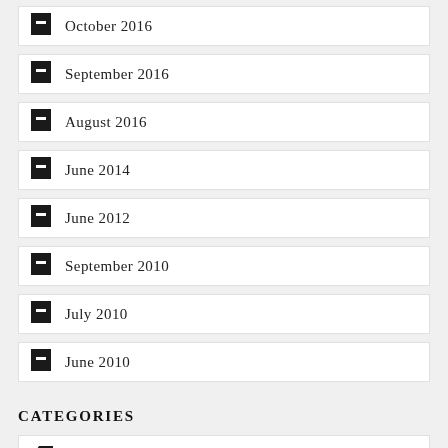October 2016
September 2016
August 2016
June 2014
June 2012
September 2010
July 2010
June 2010
CATEGORIES
UNCATEGORIZED